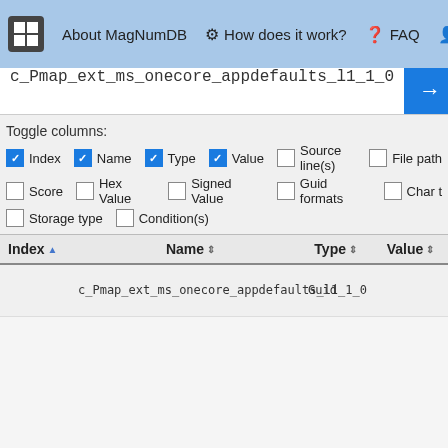About MagNumDB  How does it work?  FAQ  Priv
c_Pmap_ext_ms_onecore_appdefaults_l1_1_0
Toggle columns:
Index  Name  Type  Value  Source line(s)  File path  Score  Hex Value  Signed Value  Guid formats  Char t  Storage type  Condition(s)
| Index | Name | Type | Value |
| --- | --- | --- | --- |
|  | c_Pmap_ext_ms_onecore_appdefaults_l1_1_0 | Guid |  |